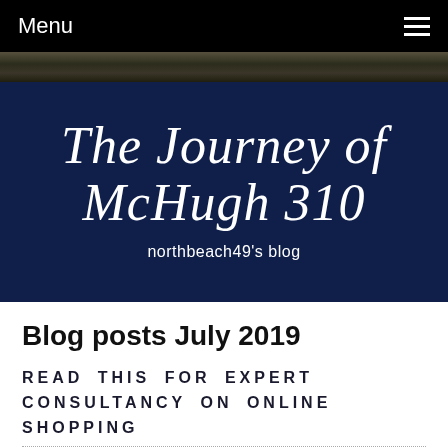Menu
[Figure (photo): Dark nature/ground photo strip used as background accent below nav bar]
The Journey of McHugh 310
northbeach49's blog
Blog posts July 2019
READ THIS FOR EXPERT CONSULTANCY ON ONLINE SHOPPING
July 21, 2019